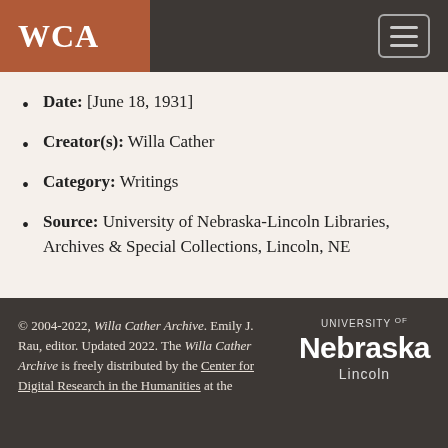WCA
Date: [June 18, 1931]
Creator(s): Willa Cather
Category: Writings
Source: University of Nebraska-Lincoln Libraries, Archives & Special Collections, Lincoln, NE
© 2004-2022, Willa Cather Archive. Emily J. Rau, editor. Updated 2022. The Willa Cather Archive is freely distributed by the Center for Digital Research in the Humanities at the